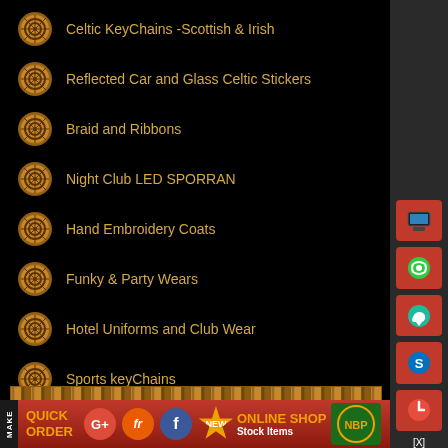Celtic KeyChains -Scottish & Irish
Reflected Car and Glass Celtic Stickers
Braid and Ribbons
Night Club LED SPORRAN
Hand Embroidery Coats
Funky & Party Wears
Hotel Uniforms and Club Wear
Sports keyChains
Medieval Items
[Figure (illustration): Celtic knot decorative divider strip]
! New Added Products
MAKE QUICK ORDER | Google+ | fr | Facebook | NEW | ONLINE SHOP Stock Items | NBP